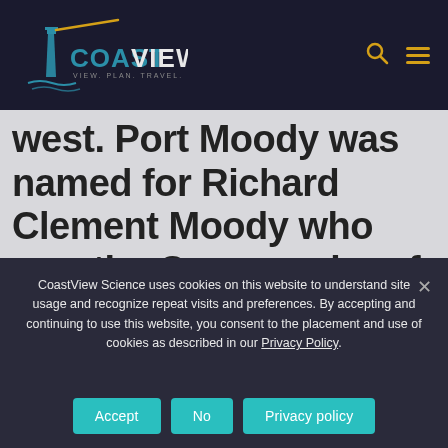CoastView — VIEW. PLAN. TRAVEL.
west. Port Moody was named for Richard Clement Moody who was the Commander of the Royal Engineers, Chief Commissioner of Lands and Works for British
CoastView Science uses cookies on this website to understand site usage and recognize repeat visits and preferences. By accepting and continuing to use this website, you consent to the placement and use of cookies as described in our Privacy Policy.